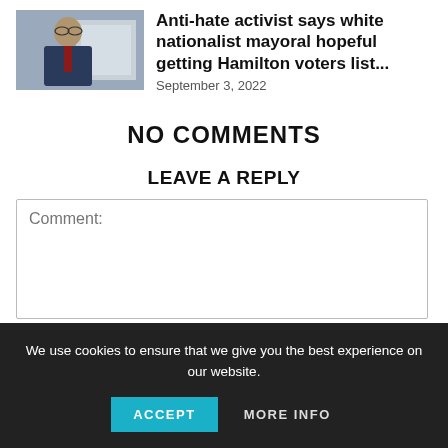[Figure (photo): Photo of an older man in a suit with glasses, standing outdoors]
Anti-hate activist says white nationalist mayoral hopeful getting Hamilton voters list...
September 3, 2022
NO COMMENTS
LEAVE A REPLY
Comment:
We use cookies to ensure that we give you the best experience on our website.